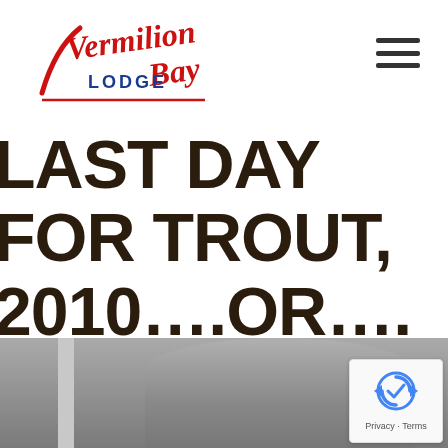[Figure (logo): Vermilion Bay Lodge logo in red cursive script with 'LODGE' in blue block letters]
[Figure (illustration): Hamburger menu icon (three horizontal lines) in top right corner]
LAST DAY FOR TROUT, 2010….OR….HOW I SPENT SEPTEMBER 30TH!
[Figure (photo): Bottom portion of page showing a partial outdoor photo, with a reCAPTCHA badge overlay in the bottom right showing Privacy and Terms links]